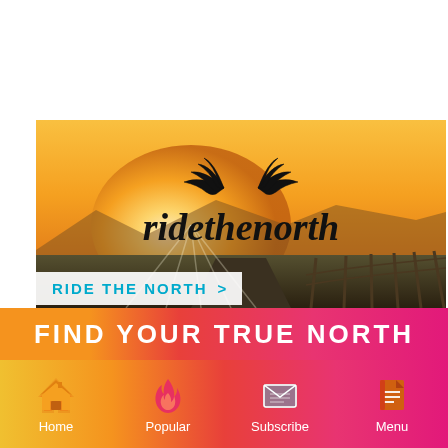[Figure (photo): Hero image showing a sunset landscape with a road and fence, overlaid with the 'ridethenorth' logo and wing graphic in black]
RIDE THE NORTH  >
FIND YOUR TRUE NORTH
[Figure (infographic): Mobile app navigation bar with gradient orange-to-pink background showing four icons: Home (house icon), Popular (flame icon), Subscribe (envelope icon), Menu (document icon)]